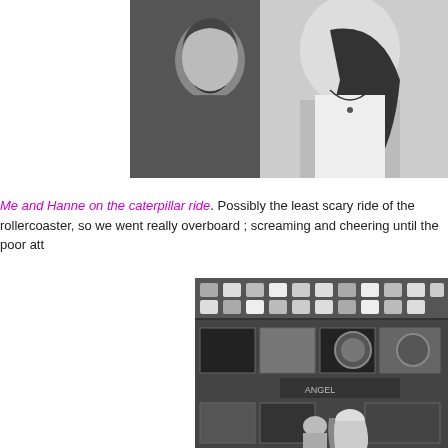[Figure (photo): Black and white photo of two people, partially cropped at top of page]
Me and Hanne on the caterpillar ride. Possibly the least scary ride of the rollercoaster, so we went really overboard ; screaming and cheering until the poor att
[Figure (photo): Black and white photo of a city street with illuminated storefront signs and people walking, partially cropped at bottom of page]